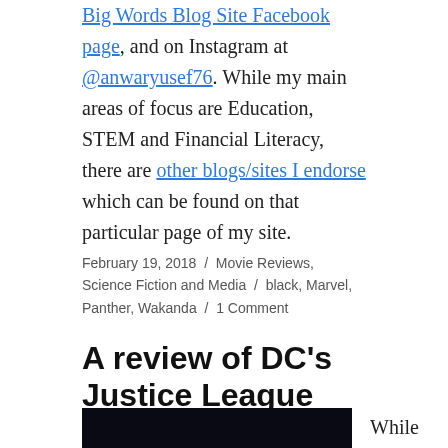Big Words Blog Site Facebook page, and on Instagram at @anwaryusef76. While my main areas of focus are Education, STEM and Financial Literacy, there are other blogs/sites I endorse which can be found on that particular page of my site.
February 19, 2018 / Movie Reviews, Science Fiction and Media / black, Marvel, Panther, Wakanda / 1 Comment
A review of DC's Justice League
[Figure (photo): Dark background image with glowing teal/blue text spelling UNITE]
While my blog has